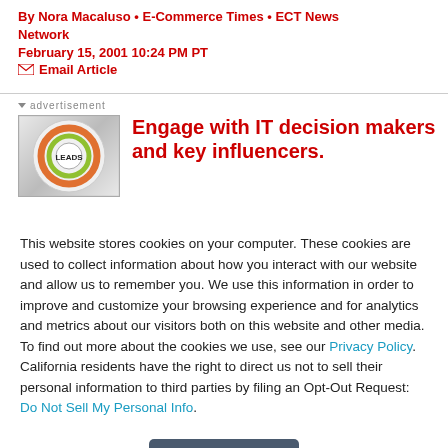By Nora Macaluso • E-Commerce Times • ECT News Network
February 15, 2001 10:24 PM PT
Email Article
advertisement
[Figure (illustration): Advertisement image showing a circular logo with 'LEADS' text and colorful design]
Engage with IT decision makers and key influencers.
This website stores cookies on your computer. These cookies are used to collect information about how you interact with our website and allow us to remember you. We use this information in order to improve and customize your browsing experience and for analytics and metrics about our visitors both on this website and other media. To find out more about the cookies we use, see our Privacy Policy. California residents have the right to direct us not to sell their personal information to third parties by filing an Opt-Out Request: Do Not Sell My Personal Info.
Accept